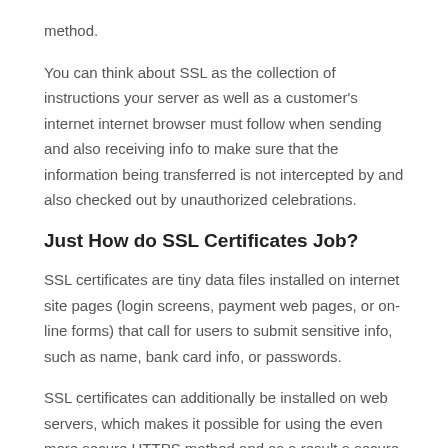method.
You can think about SSL as the collection of instructions your server as well as a customer's internet internet browser must follow when sending and also receiving info to make sure that the information being transferred is not intercepted by and also checked out by unauthorized celebrations.
Just How do SSL Certificates Job?
SSL certificates are tiny data files installed on internet site pages (login screens, payment web pages, or on-line forms) that call for users to submit sensitive info, such as name, bank card info, or passwords.
SSL certificates can additionally be installed on web servers, which makes it possible for using the even more secure HTTPS method and as a result a secure link.